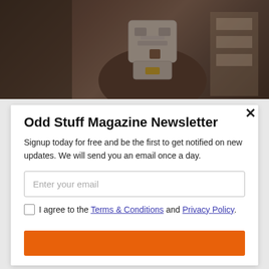[Figure (photo): Photo of a white robot/mechanical toy being held by someone, displayed in what appears to be a store environment. Brown/dark background with display shelves visible.]
Odd Stuff Magazine Newsletter
Signup today for free and be the first to get notified on new updates. We will send you an email once a day.
Enter your email
I agree to the Terms & Conditions and Privacy Policy.